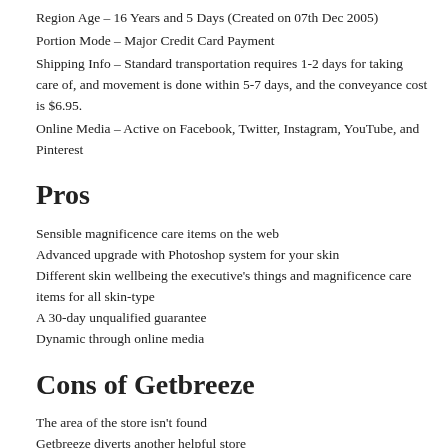Region Age – 16 Years and 5 Days (Created on 07th Dec 2005)
Portion Mode – Major Credit Card Payment
Shipping Info – Standard transportation requires 1-2 days for taking care of, and movement is done within 5-7 days, and the conveyance cost is $6.95.
Online Media – Active on Facebook, Twitter, Instagram, YouTube, and Pinterest
Pros
Sensible magnificence care items on the web
Advanced upgrade with Photoshop system for your skin
Different skin wellbeing the executive's things and magnificence care items for all skin-type
A 30-day unqualified guarantee
Dynamic through online media
Cons of Getbreeze
The area of the store isn't found
Getbreeze diverts another helpful store
Mixed reviews have been considered on the web
Customer Reviews